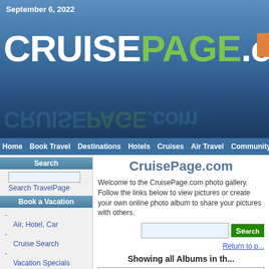September 6, 2022
[Figure (logo): CRUISEPAGE.com logo on blue ocean background header]
Home  Book Travel  Destinations  Hotels  Cruises  Air Travel  Community  Search:
CruisePage.com
Welcome to the CruisePage.com photo gallery. Follow the links below to view pictures or create your own online photo album to share your pictures with others.
Return to p...
Showing all Albums in th...
(25 Alb... Click on Album Name for detailed info.
| (thumb) | Album Name |
| --- | --- |
|  | clipper pacific in vancouver |
|  | freighter krateros running ag... |
Search
Search TravelPage
Book a Vacation
- Air, Hotel, Car
- Cruise Search
- Vacation Specials
- Getaway Deals
- 800.792.0622
Book Online
Air  Hotel  Car
From: (airport)
Depart: mm/dd/yyyy